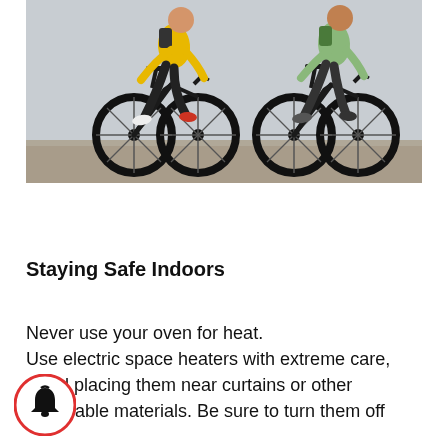[Figure (photo): Two people riding black electric bicycles side by side in front of a light gray wall. The rider on the left wears a yellow hoodie and a backpack; the rider on the right wears a green hoodie and a backpack.]
Staying Safe Indoors
Never use your oven for heat. Use electric space heaters with extreme care, avoid placing them near curtains or other flammable materials. Be sure to turn them off